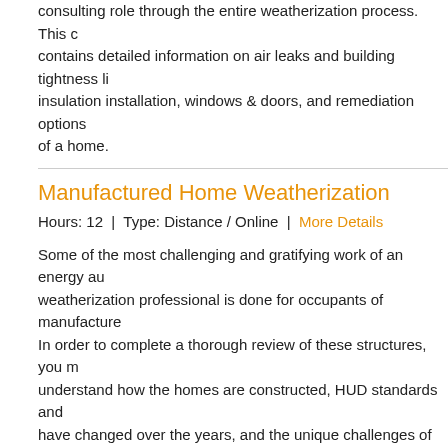consulting role through the entire weatherization process. This contains detailed information on air leaks and building tightness insulation installation, windows & doors, and remediation options of a home.
Manufactured Home Weatherization
Hours: 12  |  Type: Distance / Online  |  More Details
Some of the most challenging and gratifying work of an energy weatherization professional is done for occupants of manufactured In order to complete a thorough review of these structures, you understand how the homes are constructed, HUD standards and have changed over the years, and the unique challenges of manufactured home. This course includes all of these details providing learners with a solid knowledge base on manufactured
Hands-On Field Lab
Hours: 10  |  Type: Distance / Online  |  More Details